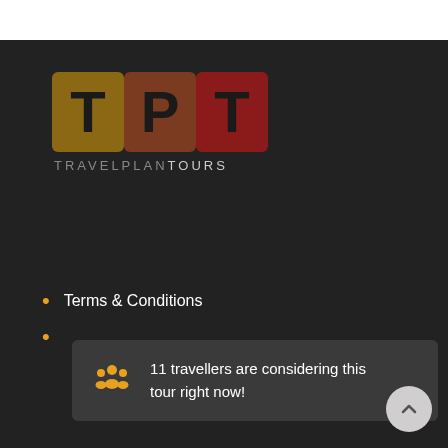[Figure (logo): TPT TravelPlanTours logo with three colored letter boxes (T in brown/gold, P in dark brown, T in dark red) on dark background with TRAVELPLANTOURS text below]
Terms & Conditions
P...
11 travellers are considering this tour right now!